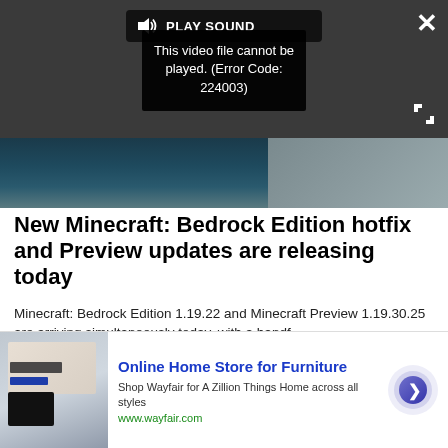[Figure (screenshot): Video player showing a Minecraft Bedrock Edition scene with an error overlay: 'This video file cannot be played. (Error Code: 224003)' and a 'PLAY SOUND' button at top. Close (X) and expand buttons are visible.]
New Minecraft: Bedrock Edition hotfix and Preview updates are releasing today
Minecraft: Bedrock Edition 1.19.22 and Minecraft Preview 1.19.30.25 are arriving simultaneously today, with a handf...
Windows Central
[Figure (screenshot): Partial view of a tablet device showing a home/furniture-related screen, cropped at bottom.]
Online Home Store for Furniture
Shop Wayfair for A Zillion Things Home across all styles
www.wayfair.com